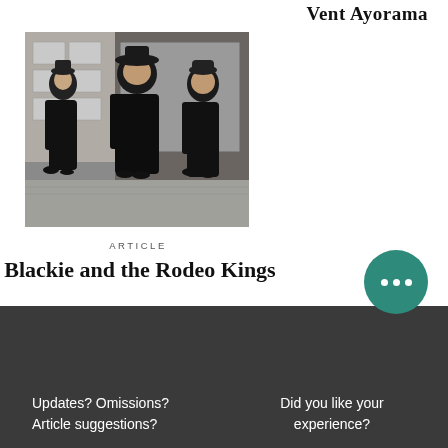Vent Ayorama
[Figure (photo): Black and white photo of three musicians dressed in black standing on a sidewalk in front of a storefront]
ARTICLE
Blackie and the Rodeo Kings
Updates? Omissions? Article suggestions?
Did you like your experience?